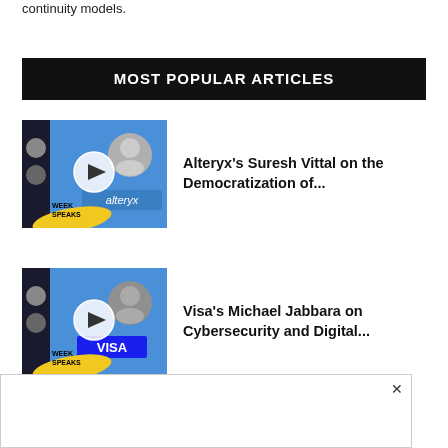continuity models.
MOST POPULAR ARTICLES
[Figure (screenshot): Thumbnail for Alteryx podcast episode with play button, Week Speaks branding, yellow and blue design]
Alteryx's Suresh Vittal on the Democratization of...
[Figure (screenshot): Thumbnail for Visa podcast episode with play button, Week Speaks branding, VISA logo, yellow and blue design]
Visa's Michael Jabbara on Cybersecurity and Digital...
[Figure (screenshot): Thumbnail for IGEL CEO podcast episode with play button, Week Speaks branding, yellow and blue design]
IGEL CEO Jed Ayres on Edge and...